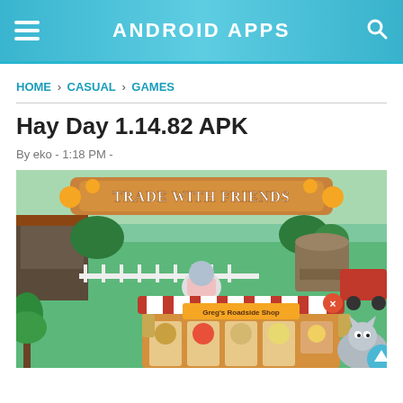ANDROID APPS
HOME › CASUAL › GAMES
Hay Day 1.14.82 APK
By eko - 1:18 PM -
[Figure (screenshot): Screenshot of Hay Day mobile game showing 'Trade with Friends' screen with a roadside shop interface and various farm items for sale]